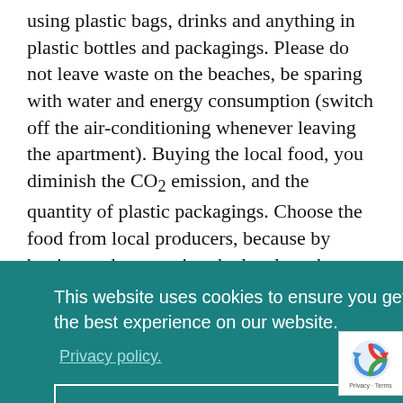using plastic bags, drinks and anything in plastic bottles and packagings. Please do not leave waste on the beaches, be sparing with water and energy consumption (switch off the air-conditioning whenever leaving the apartment). Buying the local food, you diminish the CO2 emission, and the quantity of plastic packagings. Choose the food from local producers, because by buying and consuming the local products, you help insure the future of small island manufacturers.
[Figure (screenshot): Cookie consent banner with teal background. Text reads: 'This website uses cookies to ensure you get the best experience on our website.' with a 'Privacy policy.' link below. A white-bordered button labeled 'Allow cookies.' is at the bottom. A reCAPTCHA badge appears at the bottom right.]
with even two geoparks under the UNESCO